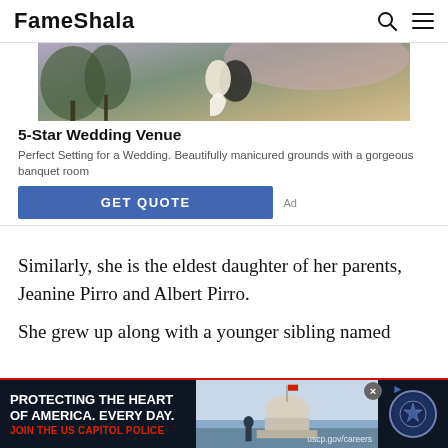FameShala
[Figure (photo): Advertisement photo showing a wedding couple embracing outdoors with trees and sky in the background]
5-Star Wedding Venue
Perfect Setting for a Wedding. Beautifully manicured grounds with a gorgeous banquet room
GET QUOTE
Similarly, she is the eldest daughter of her parents, Jeanine Pirro and Albert Pirro.
She grew up along with a younger sibling named
[Figure (photo): Bottom banner advertisement for US Capitol Police: 'PROTECTING THE HEART OF AMERICA. EVERY DAY. JOIN THE US CAPITOL POLICE' with image of Capitol building and a badge logo. URL: uscp.gov/careers]